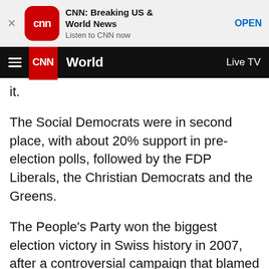[Figure (screenshot): CNN app banner with red rounded square icon, title 'CNN: Breaking US & World News', subtitle 'Listen to CNN now', and OPEN link button]
CNN  World  Live TV
it.
The Social Democrats were in second place, with about 20% support in pre-election polls, followed by the FDP Liberals, the Christian Democrats and the Greens.
The People's Party won the biggest election victory in Swiss history in 2007, after a controversial campaign that blamed foreigners for much of the country's crime.
The nationalist party rode a wave of anti-